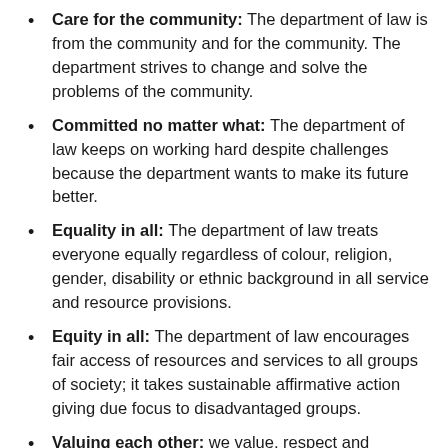Care for the community: The department of law is from the community and for the community. The department strives to change and solve the problems of the community.
Committed no matter what: The department of law keeps on working hard despite challenges because the department wants to make its future better.
Equality in all: The department of law treats everyone equally regardless of colour, religion, gender, disability or ethnic background in all service and resource provisions.
Equity in all: The department of law encourages fair access of resources and services to all groups of society; it takes sustainable affirmative action giving due focus to disadvantaged groups.
Valuing each other: we value, respect and appreciate each other's ideas and contributions to the growth and transformation of the department.
Creativity Culture: The department of law makes